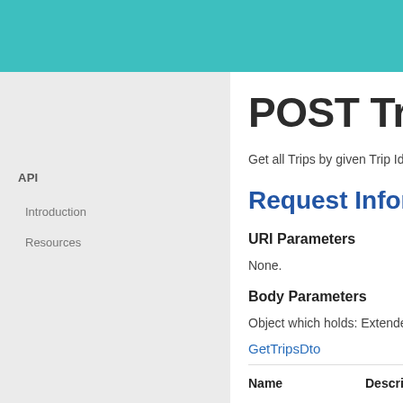API
Introduction
Resources
POST Trips
Get all Trips by given Trip Ids.
Request Information
URI Parameters
None.
Body Parameters
Object which holds: Extended
GetTripsDto
| Name | Description |
| --- | --- |